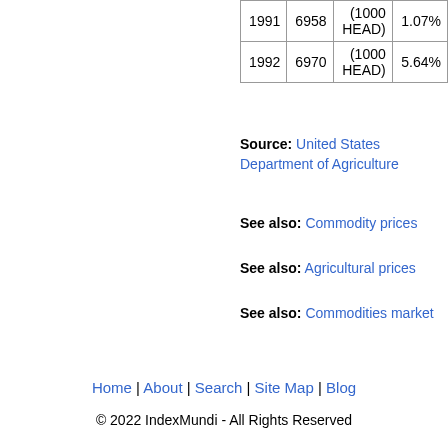| Year | Value | Unit | Change |
| --- | --- | --- | --- |
| 1991 | 6958 | (1000 HEAD) | 1.07% |
| 1992 | 6970 | (1000 HEAD) | 5.64% |
Source: United States Department of Agriculture
See also: Commodity prices
See also: Agricultural prices
See also: Commodities market
Home | About | Search | Site Map | Blog
© 2022 IndexMundi - All Rights Reserved